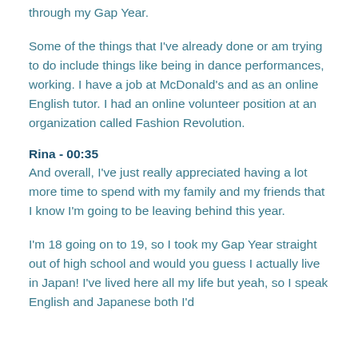through my Gap Year.
Some of the things that I've already done or am trying to do include things like being in dance performances, working. I have a job at McDonald's and as an online English tutor. I had an online volunteer position at an organization called Fashion Revolution.
Rina - 00:35
And overall, I've just really appreciated having a lot more time to spend with my family and my friends that I know I'm going to be leaving behind this year.
I'm 18 going on to 19, so I took my Gap Year straight out of high school and would you guess I actually live in Japan! I've lived here all my life but yeah, so I speak English and Japanese both I'd